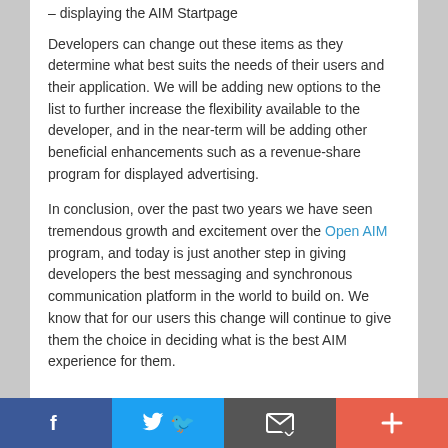– displaying the AIM Startpage
Developers can change out these items as they determine what best suits the needs of their users and their application. We will be adding new options to the list to further increase the flexibility available to the developer, and in the near-term will be adding other beneficial enhancements such as a revenue-share program for displayed advertising.
In conclusion, over the past two years we have seen tremendous growth and excitement over the Open AIM program, and today is just another step in giving developers the best messaging and synchronous communication platform in the world to build on. We know that for our users this change will continue to give them the choice in deciding what is the best AIM experience for them.
[Figure (infographic): Social sharing bar with four buttons: Facebook (blue), Twitter (light blue), Email/envelope (dark gray), and Plus/more (orange-red)]